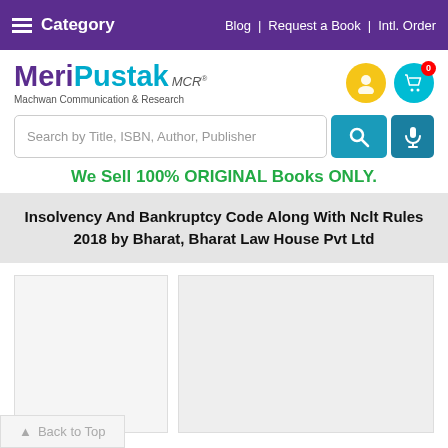Category | Blog | Request a Book | Intl. Order
[Figure (logo): MeriPustak MCR logo with text Machwan Communication & Research]
Search by Title, ISBN, Author, Publisher
We Sell 100% ORIGINAL Books ONLY.
Insolvency And Bankruptcy Code Along With Nclt Rules 2018 by Bharat, Bharat Law House Pvt Ltd
[Figure (photo): Book cover image placeholder (light grey)]
▲ Back to Top